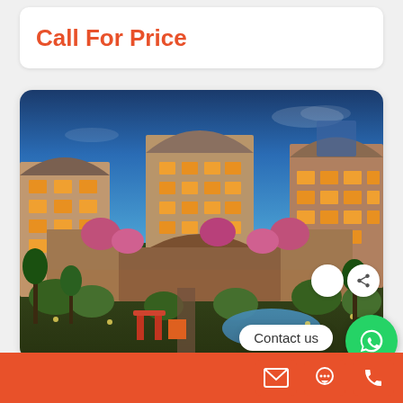Call For Price
[Figure (photo): Aerial/eye-level architectural rendering of a modern luxury apartment complex at dusk/twilight. Multiple 5-6 storey residential buildings with warm glowing windows, arched roof accents, balconies with greenery, surrounded by landscaped gardens, flowering trees, a playground, and a pond/pool area in the foreground. Blue twilight sky above.]
Contact us